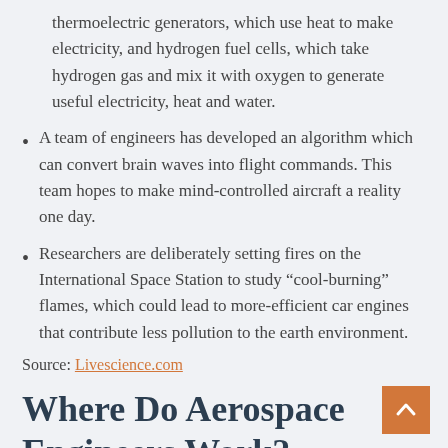thermoelectric generators, which use heat to make electricity, and hydrogen fuel cells, which take hydrogen gas and mix it with oxygen to generate useful electricity, heat and water.
A team of engineers has developed an algorithm which can convert brain waves into flight commands. This team hopes to make mind-controlled aircraft a reality one day.
Researchers are deliberately setting fires on the International Space Station to study “cool-burning” flames, which could lead to more-efficient car engines that contribute less pollution to the earth environment.
Source: Livescience.com
Where Do Aerospace Engineers Work?